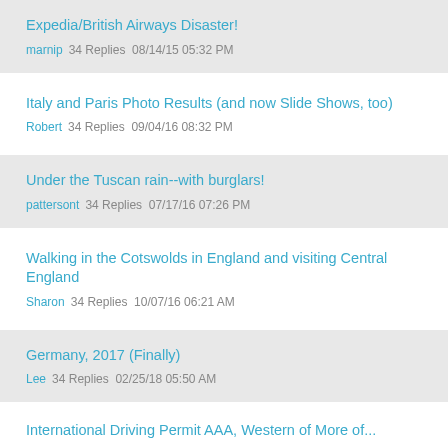Expedia/British Airways Disaster!
marnip  34 Replies  08/14/15 05:32 PM
Italy and Paris Photo Results (and now Slide Shows, too)
Robert  34 Replies  09/04/16 08:32 PM
Under the Tuscan rain--with burglars!
pattersont  34 Replies  07/17/16 07:26 PM
Walking in the Cotswolds in England and visiting Central England
Sharon  34 Replies  10/07/16 06:21 AM
Germany, 2017 (Finally)
Lee  34 Replies  02/25/18 05:50 AM
International Driving Permit AAA, Western of More of...